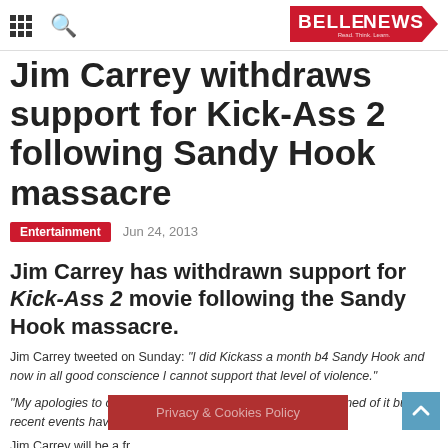BELLENEWS — Read. Think. Learn.
Jim Carrey withdraws support for Kick-Ass 2 following Sandy Hook massacre
Entertainment   Jun 24, 2013
Jim Carrey has withdrawn support for Kick-Ass 2 movie following the Sandy Hook massacre.
Jim Carrey tweeted on Sunday: "I did Kickass a month b4 Sandy Hook and now in all good conscience I cannot support that level of violence."
"My apologies to others involved with the film. I am not ashamed of it but recent events have caused a change in my heart," he added.
Privacy & Cookies Policy